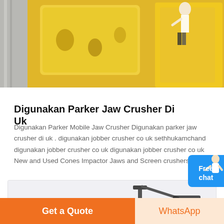[Figure (photo): Yellow heavy jaw crusher machinery with concrete wall on the left, industrial equipment photo]
Digunakan Parker Jaw Crusher Di Uk
Digunakan Parker Mobile Jaw Crusher Digunakan parker jaw crusher di uk . digunakan jobber crusher co uk sethhukamchand digunakan jobber crusher co uk digunakan jobber crusher co uk New and Used Cones Impactor Jaws and Screen crushers ...
[Figure (photo): Industrial machinery equipment, partially visible at bottom of page]